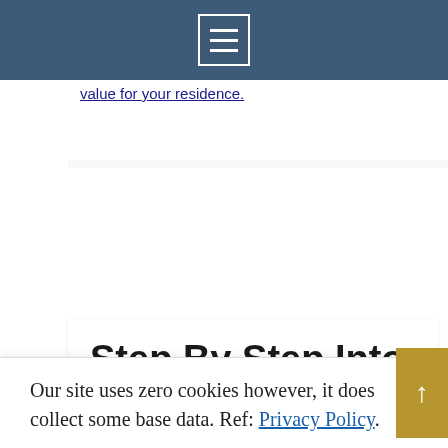Navigation bar with hamburger menu
value for your residence.
Step By Step Into Your New Home
Design, Home Improvement   home construction
The more thoroughly a building project is
Our site uses zero cookies however, it does collect some base data. Ref: Privacy Policy.